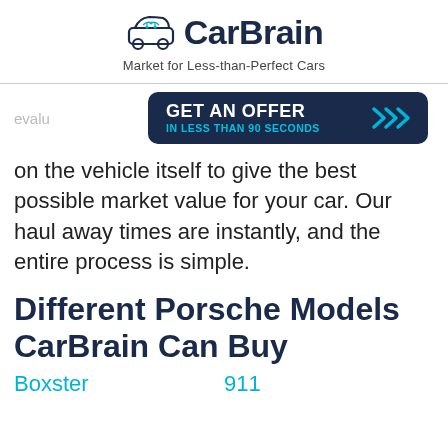[Figure (logo): CarBrain logo with car icon and text 'CarBrain', tagline 'Market for Less-than-Perfect Cars']
[Figure (infographic): Dark navy rounded rectangle CTA button: 'GET AN OFFER IN LESS THAN 90 SECONDS' with double chevron arrows, overlaid on page content]
evalu… on the vehicle itself to give the best possible market value for your car. Our haul away times are instantly, and the entire process is simple.
Different Porsche Models CarBrain Can Buy
Boxster
911